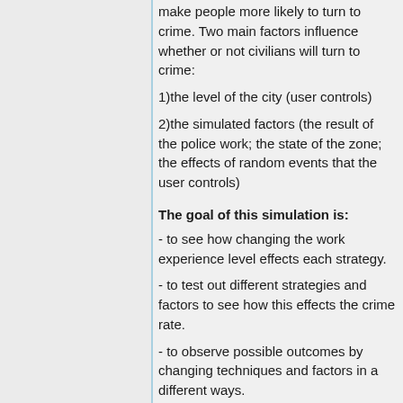make people more likely to turn to crime. Two main factors influence whether or not civilians will turn to crime:
1)the level of the city (user controls)
2)the simulated factors (the result of the police work; the state of the zone; the effects of random events that the user controls)
The goal of this simulation is:
- to see how changing the work experience level effects each strategy.
- to test out different strategies and factors to see how this effects the crime rate.
- to observe possible outcomes by changing techniques and factors in a different ways.